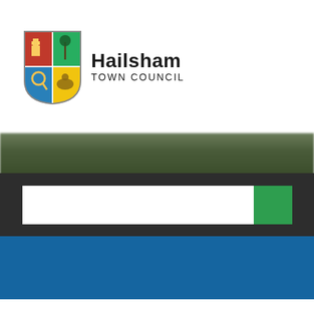[Figure (logo): Hailsham Town Council logo with heraldic shield and text 'Hailsham TOWN COUNCIL']
[Figure (photo): Blurred outdoor landscape banner photo strip]
[Figure (screenshot): Dark search bar area with white search input box and green search button]
[Figure (screenshot): Blue navigation bar strip]